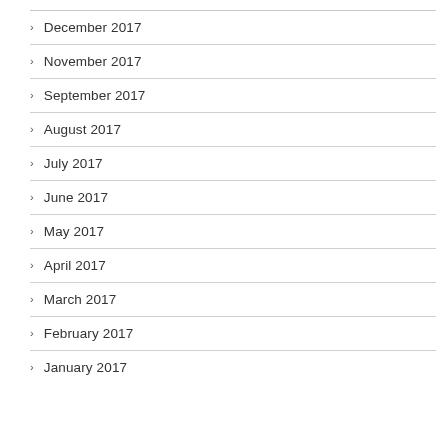December 2017
November 2017
September 2017
August 2017
July 2017
June 2017
May 2017
April 2017
March 2017
February 2017
January 2017